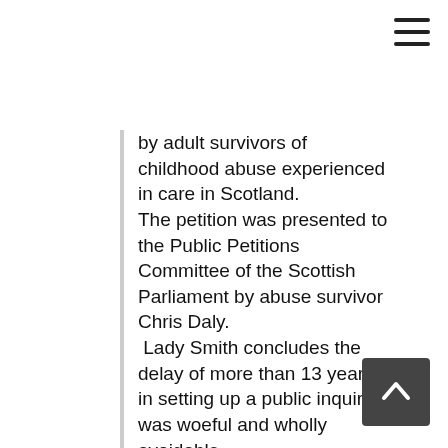[Figure (other): Hamburger menu icon (three horizontal lines) in top-right corner]
by adult survivors of childhood abuse experienced in care in Scotland. The petition was presented to the Public Petitions Committee of the Scottish Parliament by abuse survivor Chris Daly. Lady Smith concludes the delay of more than 13 years in setting up a public inquiry was woeful and wholly avoidable. The findings also examine other key issues raised by adult survivors of childhood abuse experienced in care in Scotland arising after the petition was presented. Lady Smith, Chair of the Scottish Child Abuse Inquiry, said: “For far too long survivors’ voices were not listened to, nor heard; they were treated as if their views did not matter and as if they were not worth listening to, just as when they were abused in care.
[Figure (other): Scroll-to-top button (dark square with upward chevron arrow) in bottom-right corner]